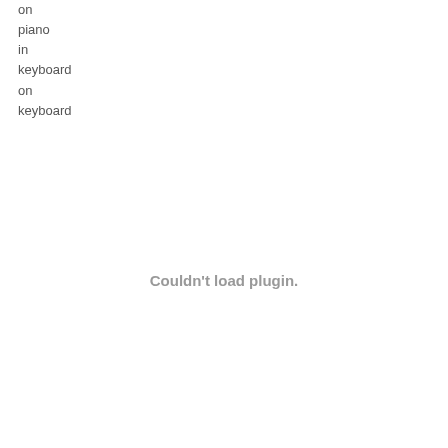on
piano
in
keyboard
on
keyboard
Couldn't load plugin.